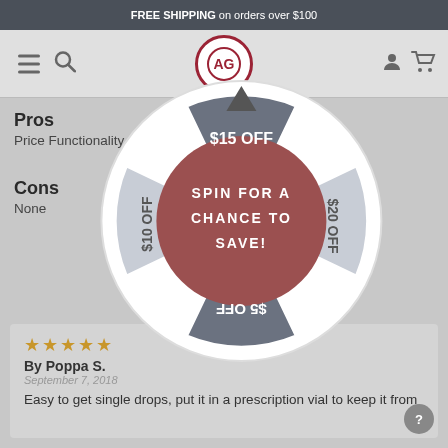FREE SHIPPING on orders over $100
[Figure (logo): AG brand logo - circular red emblem with AG letters]
Pros
Price Functionality
Cons
None
[Figure (infographic): Spin wheel promotion overlay with segments: $15 OFF (top), $20 OFF (right), $5 OFF (bottom), $10 OFF (left), center reads SPIN FOR A CHANCE TO SAVE!]
★★★★★
By Poppa S.
September 7, 2018
Easy to get single drops, put it in a prescription vial to keep it from accidentally being opened